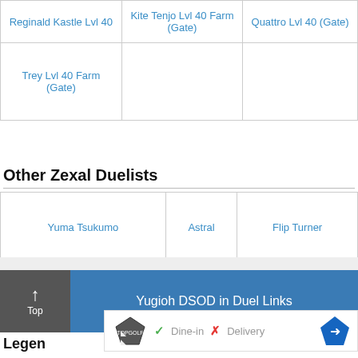| Reginald Kastle Lvl 40 | Kite Tenjo Lvl 40 Farm (Gate) | Quattro Lvl 40 (Gate) |
| --- | --- | --- |
| Trey Lvl 40 Farm (Gate) |  |  |
Other Zexal Duelists
| Yuma Tsukumo | Astral | Flip Turner |
| --- | --- | --- |
Yu-Gi-Oh Dark Side of Dimension [DSOD]
Yugioh DSOD in Duel Links
Legend
[Figure (other): Ad overlay with Topgolf logo, Dine-in and Delivery options, and navigation arrow icon]